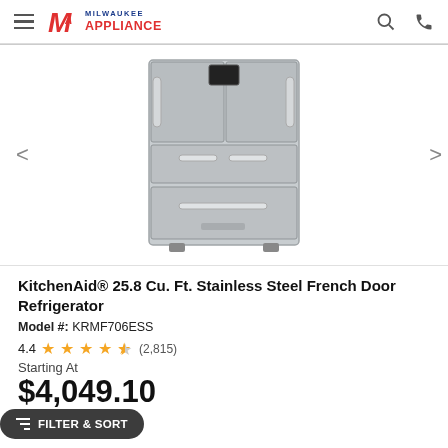Milwaukee Appliance
[Figure (photo): KitchenAid stainless steel French door refrigerator with multiple drawers and bottom freezer drawer]
KitchenAid® 25.8 Cu. Ft. Stainless Steel French Door Refrigerator
Model #: KRMF706ESS
4.4  ★★★★½  (2,815)
Starting At
$4,049.10